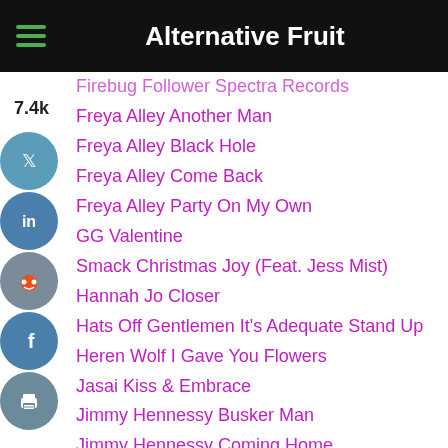Alternative Fruit
Firebug Follower Spectra Records
Freya Alley Another Man
Freya Alley Black Hole
Freya Alley Come Back
Freya Alley Party On My Own
GG Valentine
Smack Christmas Joy (Feat. Jess Mist)
Hannah Jo Closer
Hats Off Gentlemen It's Adequate Stand Up
Heren Wolf I Gave You Flowers
Jasai Kiss & Embrace
Jimmy Hennessy Busker Man
Jimmy Hennessy Coming Home
Just A Jester
Just A Jester Beautiful Day
Justin Faye Let Me Smoke Your Sweet Lips Again
Katie Kittermaster T-Shirt